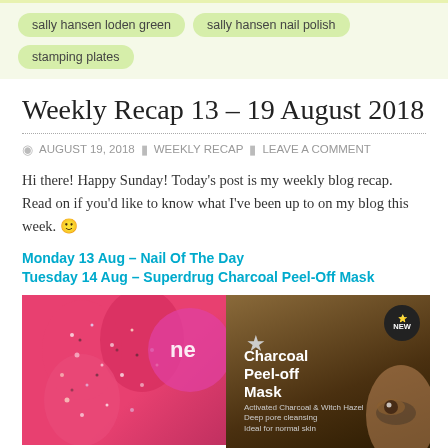sally hansen loden green
sally hansen nail polish
stamping plates
Weekly Recap 13 – 19 August 2018
AUGUST 19, 2018   WEEKLY RECAP   LEAVE A COMMENT
Hi there! Happy Sunday! Today's post is my weekly blog recap. Read on if you'd like to know what I've been up to on my blog this week. 🙂
Monday 13 Aug – Nail Of The Day
Tuesday 14 Aug – Superdrug Charcoal Peel-Off Mask
[Figure (photo): Left: Close-up of red glittery nail polish on nails with a pink circular product label showing 'ne'. Right: Superdrug Charcoal Peel-off Mask product packaging with a star logo, 'NEW' badge, and text reading 'Charcoal Peel-off Mask' on a dark brown background.]